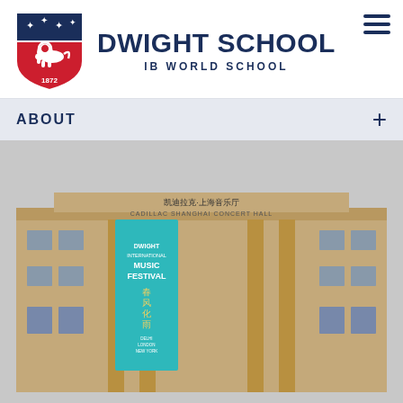[Figure (logo): Dwight School shield logo with red lion, stars, and year 1872 on navy blue background]
DWIGHT SCHOOL
IB WORLD SCHOOL
ABOUT
[Figure (photo): Cadillac Shanghai Concert Hall building facade with three hanging banners: teal banner reading DWIGHT INTERNATIONAL MUSIC FESTIVAL, center banner with orchid flower, and red banner reading MUSIC SPRING]